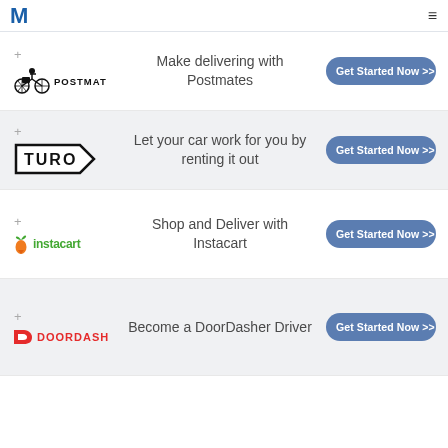M ≡
[Figure (logo): Postmates logo with courier on bicycle]
Make delivering with Postmates
Get Started Now >>
[Figure (logo): Turo logo in rectangular arrow shape]
Let your car work for you by renting it out
Get Started Now >>
[Figure (logo): Instacart logo with orange carrot and green text]
Shop and Deliver with Instacart
Get Started Now >>
[Figure (logo): DoorDash logo with red icon and bold red text]
Become a DoorDasher Driver
Get Started Now >>